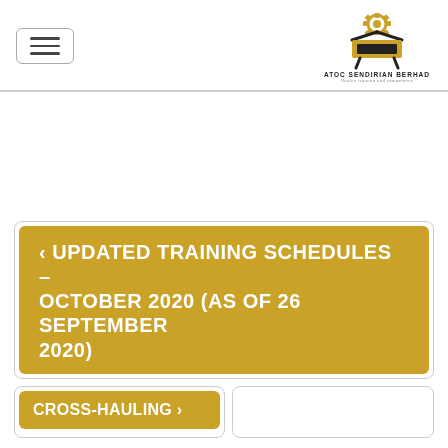[Figure (logo): ATOC Sendirian Berhad company logo — gear/machine icon in black and gold with company name below]
< UPDATED TRAINING SCHEDULES – OCTOBER 2020 (AS OF 26 SEPTEMBER 2020)
CROSS-HAULING >